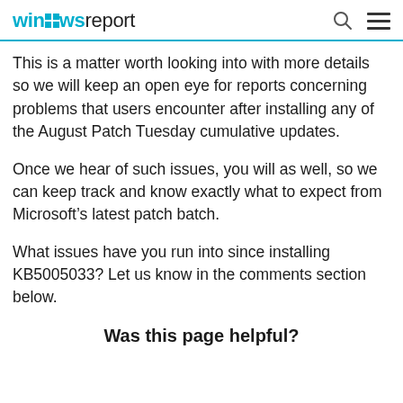windows report
This is a matter worth looking into with more details so we will keep an open eye for reports concerning problems that users encounter after installing any of the August Patch Tuesday cumulative updates.
Once we hear of such issues, you will as well, so we can keep track and know exactly what to expect from Microsoft’s latest patch batch.
What issues have you run into since installing KB5005033? Let us know in the comments section below.
Was this page helpful?